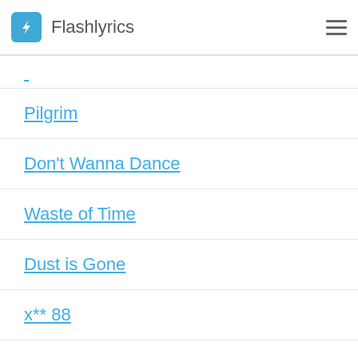Flashlyrics
Pilgrim
Don't Wanna Dance
Waste of Time
Dust is Gone
x** 88
Walk This Way
Slow Love
Glass
No Mythologies to Follow